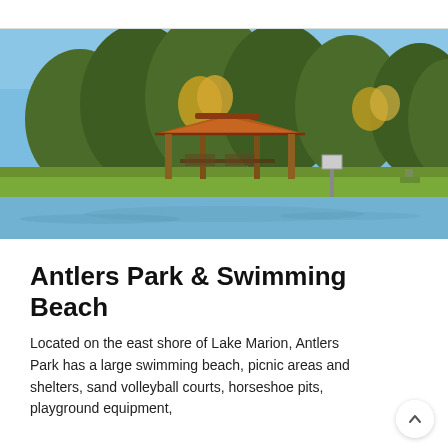[Figure (photo): Photograph of Antlers Park showing a wooden gazebo/shelter near the shoreline of a lake, with large mature trees in autumn foliage (green and yellow-orange) behind it, green grass, and calm blue water in the foreground reflecting the scene. Clear blue sky above.]
Antlers Park & Swimming Beach
Located on the east shore of Lake Marion, Antlers Park has a large swimming beach, picnic areas and shelters, sand volleyball courts, horseshoe pits, playground equipment,